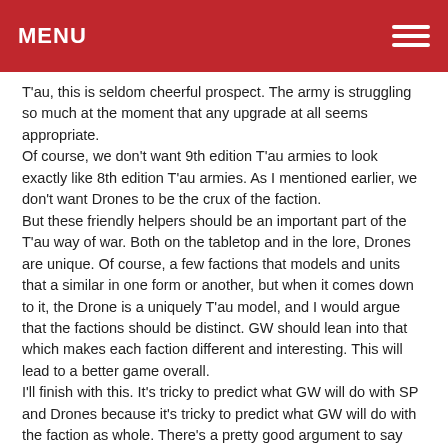MENU
T'au, this is seldom cheerful prospect. The army is struggling so much at the moment that any upgrade at all seems appropriate.
Of course, we don't want 9th edition T'au armies to look exactly like 8th edition T'au armies. As I mentioned earlier, we don't want Drones to be the crux of the faction.
But these friendly helpers should be an important part of the T'au way of war. Both on the tabletop and in the lore, Drones are unique. Of course, a few factions that models and units that a similar in one form or another, but when it comes down to it, the Drone is a uniquely T'au model, and I would argue that the factions should be distinct. GW should lean into that which makes each faction different and interesting. This will lead to a better game overall.
I'll finish with this. It's tricky to predict what GW will do with SP and Drones because it's tricky to predict what GW will do with the faction as whole. There's a pretty good argument to say that the faction needs a rewrite from the ground up, which would of course involve rethinking how Drones work on the tabletop.
But whatever happens, I think that Drones should remain part of the